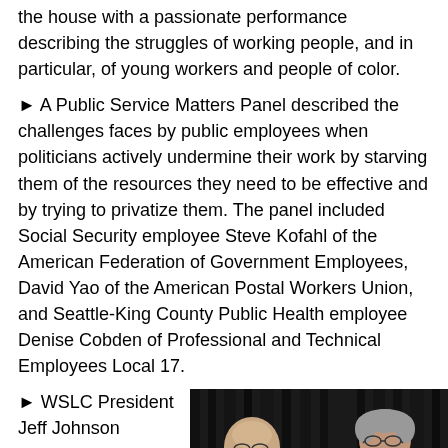the house with a passionate performance describing the struggles of working people, and in particular, of young workers and people of color.
► A Public Service Matters Panel described the challenges faces by public employees when politicians actively undermine their work by starving them of the resources they need to be effective and by trying to privatize them. The panel included Social Security employee Steve Kofahl of the American Federation of Government Employees, David Yao of the American Postal Workers Union, and Seattle-King County Public Health employee Denise Cobden of Professional and Technical Employees Local 17.
► WSLC President Jeff Johnson presented
[Figure (photo): Two men in suits conversing at what appears to be a conference or event, with dark curtain backdrop. One man is bald with glasses and a mustache, the other has gray hair and glasses.]